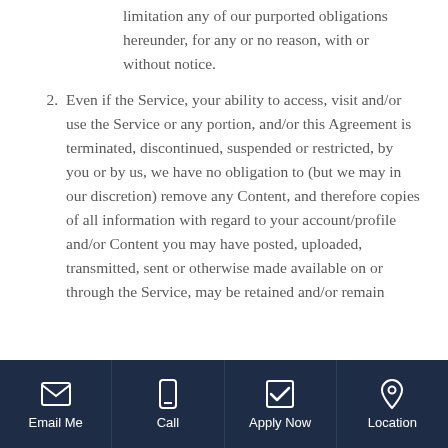limitation any of our purported obligations hereunder, for any or no reason, with or without notice.
2. Even if the Service, your ability to access, visit and/or use the Service or any portion, and/or this Agreement is terminated, discontinued, suspended or restricted, by you or by us, we have no obligation to (but we may in our discretion) remove any Content, and therefore copies of all information with regard to your account/profile and/or Content you may have posted, uploaded, transmitted, sent or otherwise made available on or through the Service, may be retained and/or remain
Email Me | Call | Apply Now | Location